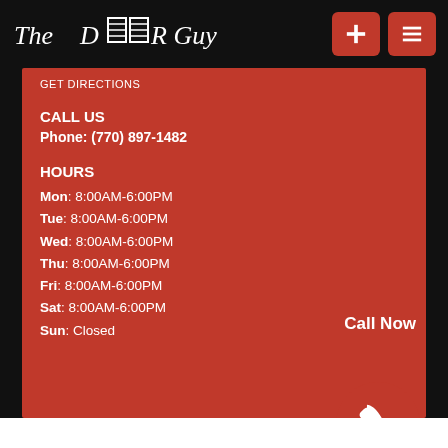[Figure (logo): The Door Guy logo with garage door icon in the lettering]
GET DIRECTIONS
CALL US
Phone: (770) 897-1482
HOURS
Mon: 8:00AM-6:00PM
Tue: 8:00AM-6:00PM
Wed: 8:00AM-6:00PM
Thu: 8:00AM-6:00PM
Fri: 8:00AM-6:00PM
Sat: 8:00AM-6:00PM
Sun: Closed
Call Now